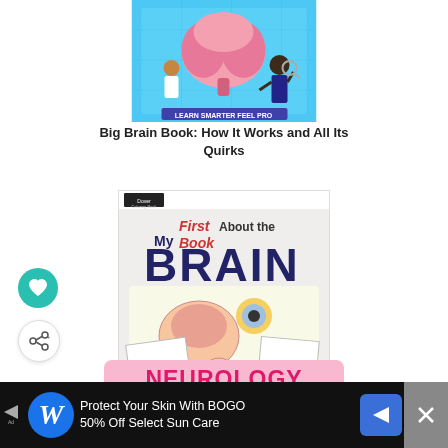[Figure (illustration): Book cover: Big Brain Book: How It Works and All Its Quirks — illustrated children's book cover with brain illustration on blue background]
Big Brain Book: How It Works and All Its Quirks
[Figure (illustration): Book cover: My First Book About the Brain (Dover Children's Science Books) — colorful illustrated children's book cover]
My First Book About the Brain (Dover Children's Science Books)
[Figure (illustration): Neurology for kids banner — pink background with NEUROLOGY text in pink and 'for kids' in blue]
[Figure (illustration): Advertisement banner: Protect Your Skin With BOGO 50% Off Select Sun Care — Walgreens ad on black background]